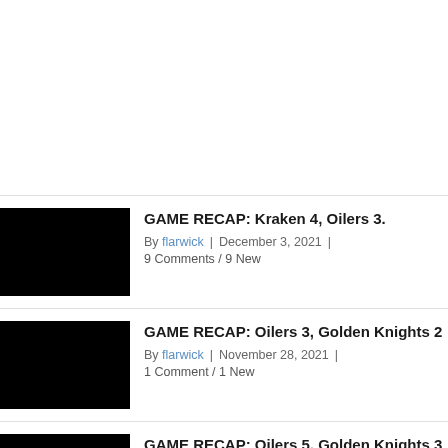GAME RECAP: Kraken 4, Oilers 3. | By flarwick | December 3, 2021 | 9 Comments / 9 New
GAME RECAP: Oilers 3, Golden Knights 2 | By flarwick | November 28, 2021 | 1 Comment / 1 New
GAME RECAP: Oilers 5, Golden Knights 3 | By flarwick | October 30, 2021 |